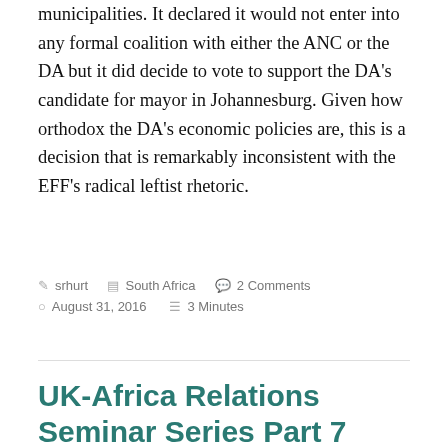municipalities. It declared it would not enter into any formal coalition with either the ANC or the DA but it did decide to vote to support the DA's candidate for mayor in Johannesburg. Given how orthodox the DA's economic policies are, this is a decision that is remarkably inconsistent with the EFF's radical leftist rhetoric.
srhurt  South Africa  2 Comments  August 31, 2016  3 Minutes
UK-Africa Relations Seminar Series Part 7